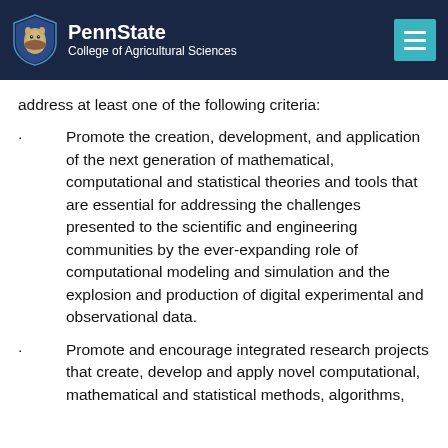PennState College of Agricultural Sciences
address at least one of the following criteria:
Promote the creation, development, and application of the next generation of mathematical, computational and statistical theories and tools that are essential for addressing the challenges presented to the scientific and engineering communities by the ever-expanding role of computational modeling and simulation and the explosion and production of digital experimental and observational data.
Promote and encourage integrated research projects that create, develop and apply novel computational, mathematical and statistical methods, algorithms,